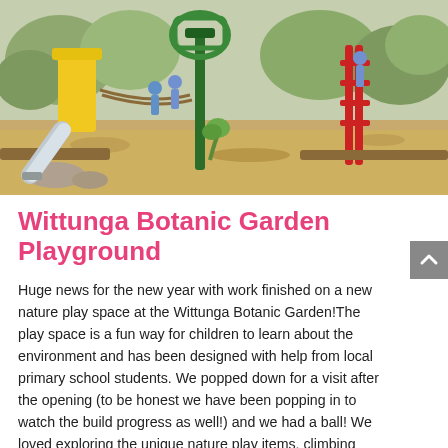[Figure (photo): Outdoor playground at Wittunga Botanic Garden showing children playing on colorful equipment including a yellow climbing structure with slide, green climbing tower, and red ladder structure, set on wood chip ground with trees in background.]
Wittunga Botanic Garden Playground
Huge news for the new year with work finished on a new nature play space at the Wittunga Botanic Garden!The play space is a fun way for children to learn about the environment and has been designed with help from local primary school students. We popped down for a visit after the opening (to be honest we have been popping in to watch the build progress as well!) and we had a ball! We loved exploring the unique nature play items, climbing the...